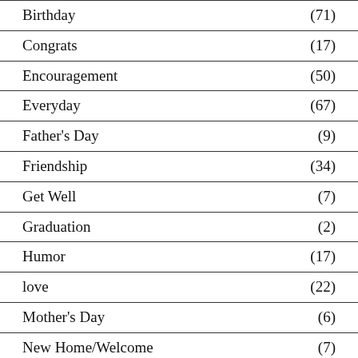Birthday (71)
Congrats (17)
Encouragement (50)
Everyday (67)
Father's Day (9)
Friendship (34)
Get Well (7)
Graduation (2)
Humor (17)
love (22)
Mother's Day (6)
New Home/Welcome (7)
Retirement (2)